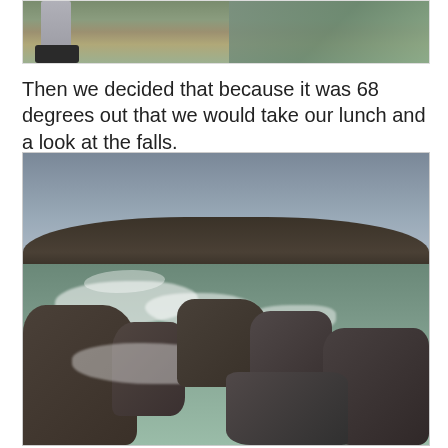[Figure (photo): Partial photo showing person's legs and feet in dark shoes standing near muddy ground with grass and water reflection visible]
Then we decided that because it was 68 degrees out that we would take our lunch and a look at the falls.
[Figure (photo): Landscape photo of a river with rocky rapids and waterfalls, surrounded by bare winter trees under a grey sky — likely Great Falls]